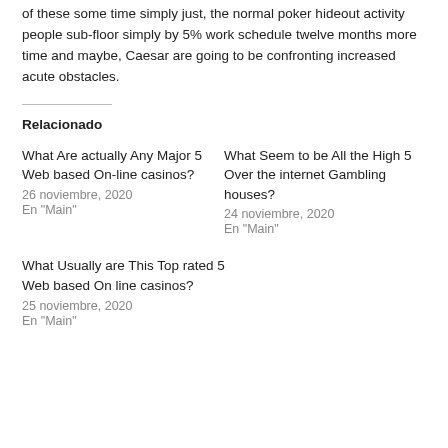of these some time simply just, the normal poker hideout activity people sub-floor simply by 5% work schedule twelve months more time and maybe, Caesar are going to be confronting increased acute obstacles.
Relacionado
What Are actually Any Major 5 Web based On-line casinos?
26 noviembre, 2020
En "Main"
What Seem to be All the High 5 Over the internet Gambling houses?
24 noviembre, 2020
En "Main"
What Usually are This Top rated 5 Web based On line casinos?
25 noviembre, 2020
En "Main"